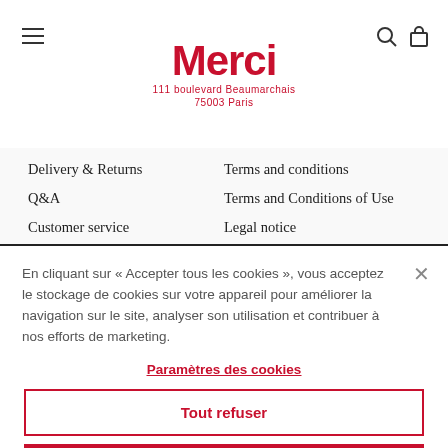Merci — 111 boulevard Beaumarchais 75003 Paris
Delivery & Returns
Terms and conditions
Q&A
Terms and Conditions of Use
Customer service
Legal notice
For professionals
En cliquant sur « Accepter tous les cookies », vous acceptez le stockage de cookies sur votre appareil pour améliorer la navigation sur le site, analyser son utilisation et contribuer à nos efforts de marketing.
Paramètres des cookies
Tout refuser
Autoriser tous les cookies